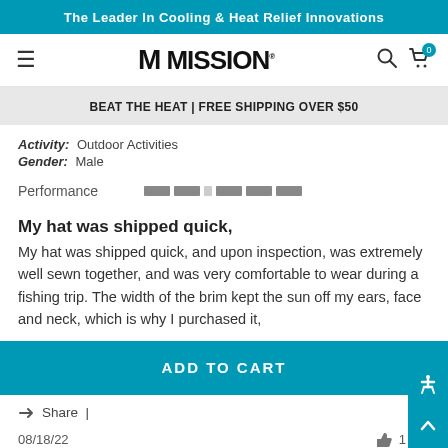The Leader In Cooling & Heat Relief Innovations
[Figure (logo): Mission brand logo with hamburger menu, search icon, and cart icon]
BEAT THE HEAT | FREE SHIPPING OVER $50
Activity: Outdoor Activities
Gender: Male
Performance [rating bars]
My hat was shipped quick,
My hat was shipped quick, and upon inspection, was extremely well sewn together, and was very comfortable to wear during a fishing trip. The width of the brim kept the sun off my ears, face and neck, which is why I purchased it,
ADD TO CART
Share |
08/18/22
1